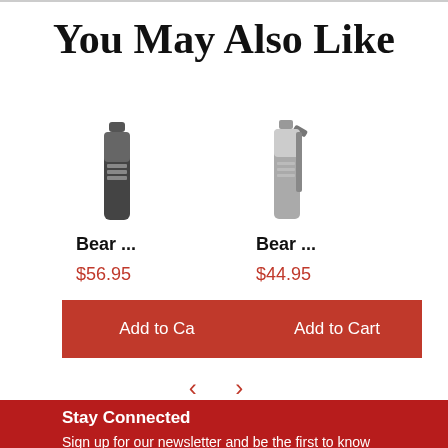You May Also Like
[Figure (photo): Small spray bottle product image (Bear ...), dark colored canister]
Bear ...
$56.95
[Figure (photo): Small spray bottle product image (Bear ...), silver/grey canister with clip]
Bear ...
$44.95
Add to Ca   Add to Cart
< >
Stay Connected
Sign up for our newsletter and be the first to know about coupons and special promotions.